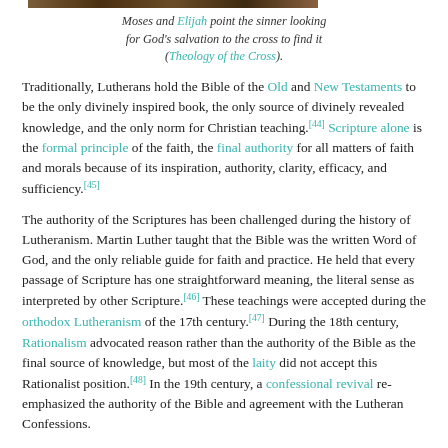[Figure (photo): Top portion of an image, cropped — shows a scene with Moses and Elijah]
Moses and Elijah point the sinner looking for God's salvation to the cross to find it (Theology of the Cross).
Traditionally, Lutherans hold the Bible of the Old and New Testaments to be the only divinely inspired book, the only source of divinely revealed knowledge, and the only norm for Christian teaching.[44] Scripture alone is the formal principle of the faith, the final authority for all matters of faith and morals because of its inspiration, authority, clarity, efficacy, and sufficiency.[45]
The authority of the Scriptures has been challenged during the history of Lutheranism. Martin Luther taught that the Bible was the written Word of God, and the only reliable guide for faith and practice. He held that every passage of Scripture has one straightforward meaning, the literal sense as interpreted by other Scripture.[46] These teachings were accepted during the orthodox Lutheranism of the 17th century.[47] During the 18th century, Rationalism advocated reason rather than the authority of the Bible as the final source of knowledge, but most of the laity did not accept this Rationalist position.[48] In the 19th century, a confessional revival re-emphasized the authority of the Bible and agreement with the Lutheran Confessions.